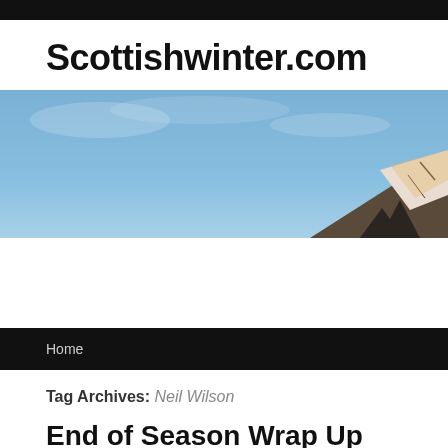Scottishwinter.com
[Figure (photo): Scenic mountainscape with snow-capped peak partially visible in lower right, set against a blue sky with light clouds — website header banner image for Scottishwinter.com]
Home
Tag Archives: Neil Wilson
End of Season Wrap Up